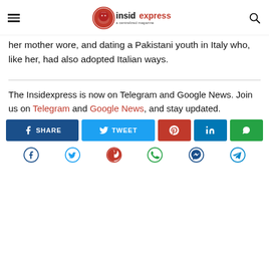insidexpress a centralized magazine
her mother wore, and dating a Pakistani youth in Italy who, like her, had also adopted Italian ways.
The Insidexpress is now on Telegram and Google News. Join us on Telegram and Google News, and stay updated.
[Figure (infographic): Social share buttons: SHARE (Facebook), TWEET (Twitter), Pinterest, LinkedIn, WhatsApp]
[Figure (infographic): Social media icon row: Facebook, Twitter, Pinterest, WhatsApp, Messenger, Telegram]